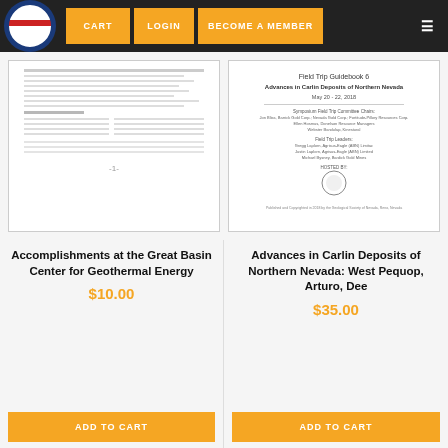CART   LOGIN   BECOME A MEMBER
[Figure (screenshot): Thumbnail preview of 'Accomplishments at the Great Basin Center for Geothermal Energy' publication]
[Figure (screenshot): Thumbnail preview of 'Advances in Carlin Deposits of Northern Nevada: West Pequop, Arturo, Dee' publication - Field Trip Guidebook 6]
Accomplishments at the Great Basin Center for Geothermal Energy
$10.00
ADD TO CART
Advances in Carlin Deposits of Northern Nevada: West Pequop, Arturo, Dee
$35.00
ADD TO CART